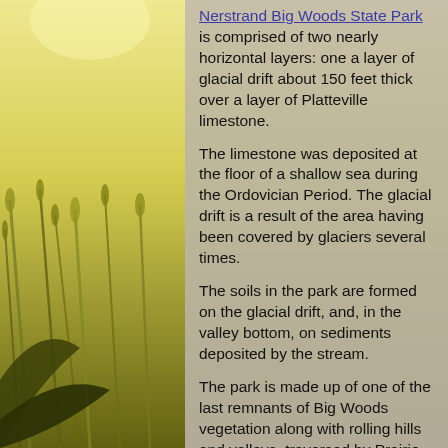[Figure (photo): Background photo of a wheat/grain field with golden-green tones, visible on the left side and edges of the page behind the text panel.]
Nerstrand Big Woods State Park is comprised of two nearly horizontal layers: one a layer of glacial drift about 150 feet thick over a layer of Platteville limestone.
The limestone was deposited at the floor of a shallow sea during the Ordovician Period. The glacial drift is a result of the area having been covered by glaciers several times.
The soils in the park are formed on the glacial drift, and, in the valley bottom, on sediments deposited by the stream.
The park is made up of one of the last remnants of Big Woods vegetation along with rolling hills and valleys, traversed by Prairie Creek and its waterfalls.
In 1854, the original woods contained about 5,000 acres. The early settlers set up a series of small woodlots in the centre of the Big Woods.